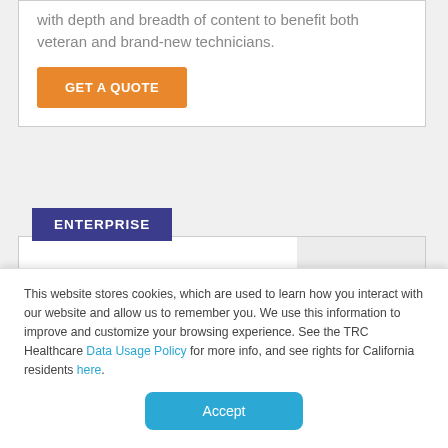with depth and breadth of content to benefit both veteran and brand-new technicians.
GET A QUOTE
ENTERPRISE
PTU ELITE
Designed exclusively for
pharmacy technicians and their
[Figure (logo): Pharmacy Technicians University logo with colorful starburst icon]
This website stores cookies, which are used to learn how you interact with our website and allow us to remember you. We use this information to improve and customize your browsing experience. See the TRC Healthcare Data Usage Policy for more info, and see rights for California residents here.
Accept